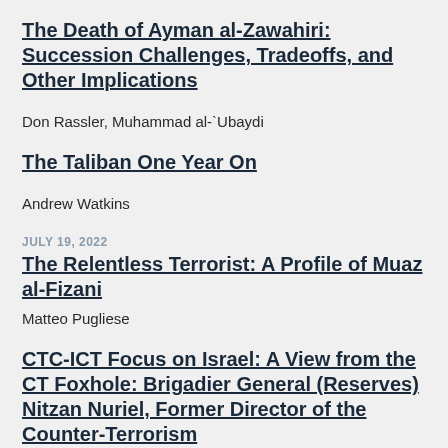The Death of Ayman al-Zawahiri: Succession Challenges, Tradeoffs, and Other Implications
Don Rassler, Muhammad al-`Ubaydi
The Taliban One Year On
Andrew Watkins
JULY 19, 2022
The Relentless Terrorist: A Profile of Muaz al-Fizani
Matteo Pugliese
CTC-ICT Focus on Israel: A View from the CT Foxhole: Brigadier General (Reserves) Nitzan Nuriel, Former Director of the Counter-Terrorism